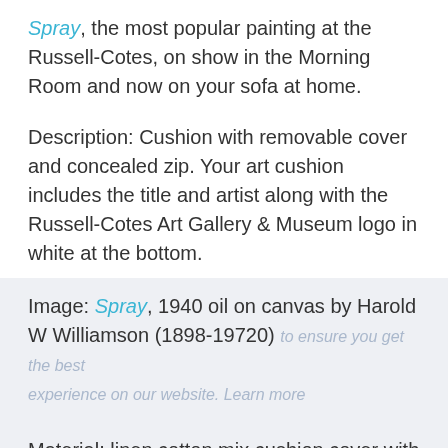Spray, the most popular painting at the Russell-Cotes, on show in the Morning Room and now on your sofa at home.
Description: Cushion with removable cover and concealed zip. Your art cushion includes the title and artist along with the Russell-Cotes Art Gallery & Museum logo in white at the bottom.
Image: Spray, 1940 oil on canvas by Harold W Williamson (1898-19720)
Material: linen cotton mix cushion cover with synthetic fiber filling, machine wash (please check care label)